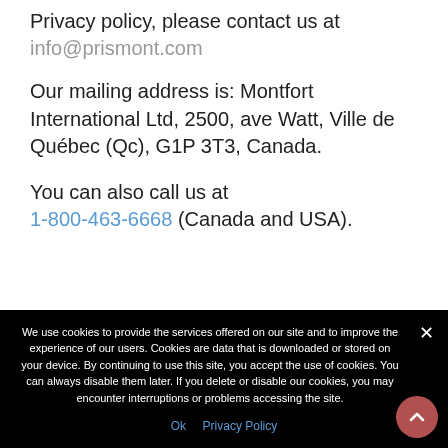Privacy policy, please contact us at info@prismont.com
Our mailing address is: Montfort International Ltd, 2500, ave Watt, Ville de Québec (Qc), G1P 3T3, Canada.
You can also call us at 1-800-463-6668 (Canada and USA).
We use cookies to provide the services offered on our site and to improve the experience of our users. Cookies are data that is downloaded or stored on your device. By continuing to use this site, you accept the use of cookies. You can always disable them later. If you delete or disable our cookies, you may encounter interruptions or problems accessing the site.
Ok  Privacy Policy